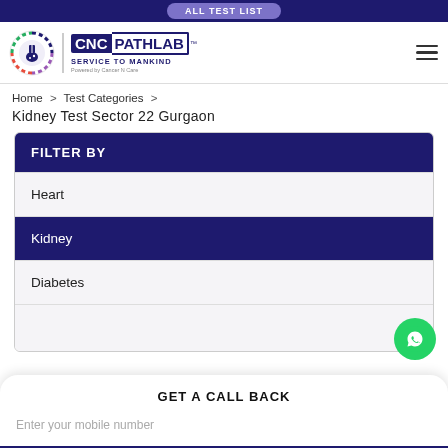ALL TEST LIST
[Figure (logo): CNC Pathlab logo with circular emblem, text CNC PATHLAB SERVICE TO MANKIND, Powered by Cancer N Care]
Home > Test Categories > Kidney Test Sector 22 Gurgaon
FILTER BY
Heart
Kidney
Diabetes
GET A CALL BACK
Enter your mobile number